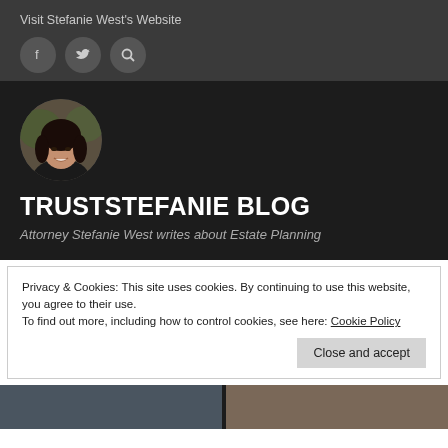Visit Stefanie West's Website
[Figure (infographic): Three circular icon buttons: Facebook (f), Twitter (bird), and Search (magnifying glass) on dark grey background]
[Figure (photo): Circular portrait photo of a woman with dark hair, smiling, wearing dark clothing, against an outdoor background]
TRUSTSTEFANIE BLOG
Attorney Stefanie West writes about Estate Planning
Privacy & Cookies: This site uses cookies. By continuing to use this website, you agree to their use.
To find out more, including how to control cookies, see here: Cookie Policy
Close and accept
[Figure (photo): Two partial thumbnail images at the bottom of the page]